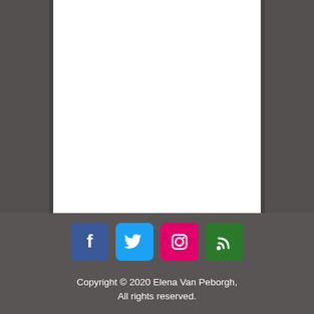[Figure (infographic): Four social media icons in colored rounded squares: Facebook (blue), Twitter (light blue), Instagram (pink/magenta), RSS (green)]
Copyright © 2020 Elena Van Peborgh, All rights reserved.